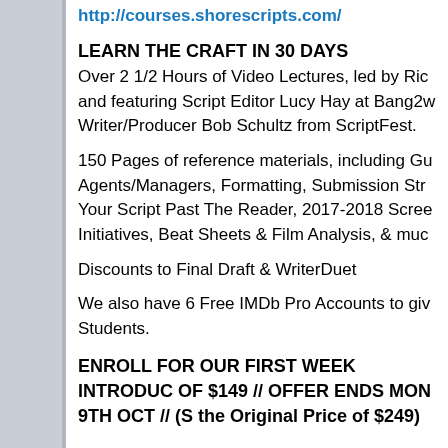http://courses.shorescripts.com/
LEARN THE CRAFT IN 30 DAYS
Over 2 1/2 Hours of Video Lectures, led by Ric and featuring Script Editor Lucy Hay at Bang2w Writer/Producer Bob Schultz from ScriptFest.
150 Pages of reference materials, including Gu Agents/Managers, Formatting, Submission Str Your Script Past The Reader, 2017-2018 Scree Initiatives, Beat Sheets & Film Analysis, & muc
Discounts to Final Draft & WriterDuet
We also have 6 Free IMDb Pro Accounts to giv Students.
ENROLL FOR OUR FIRST WEEK INTRODU OF $149 // OFFER ENDS MON 9TH OCT // (S the Original Price of $249)